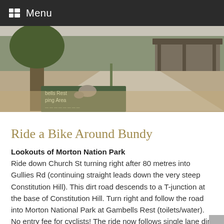Menu
[Figure (photo): Outdoor park scene showing Gambells Rest Camping Area sign, gravel path, trees, and a shelter structure in Morton National Park.]
Ride a Bike Around Bundy
Lookouts of Morton Nation Park
Ride down Church St turning right after 80 metres into Gullies Rd (continuing straight leads down the very steep Constitution Hill).  This dirt road descends to a T-junction at the base of Constitution Hill.  Turn right and follow the road into Morton National Park at Gambells Rest (toilets/water).  No entry fee for cyclists!  The ride now follows single lane dirt roads in a loop around the park – watch out for lyrebirds